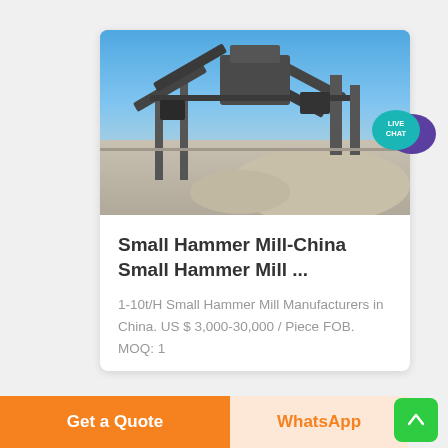[Figure (photo): Industrial hammer mill / crushing plant machinery with conveyor belts and pile of crushed material under blue sky]
Small Hammer Mill-China Small Hammer Mill ...
1-10t/H Small Hammer Mill Manufacturers in China. US $ 3,000-30,000 / Piece FOB. MOQ: 1
[Figure (illustration): Live Chat speech bubble icon in teal with purple chat bubble]
Get a Quote
WhatsApp